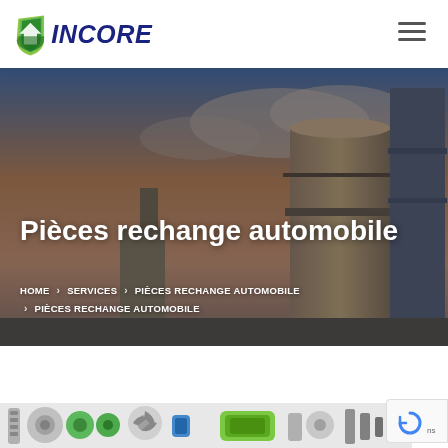[Figure (logo): INCORE company logo with green chevron/shield icon and dark blue INCORE text]
[Figure (photo): Industrial background photo showing factory/refinery structures with a dramatic sky at dusk]
Pièces rechange automobile
HOME > SERVICES > PIÈCES RECHANGE AUTOMOBILE > PIÈCES RECHANGE AUTOMOBILE
[Figure (photo): Automotive spare parts photo showing brake discs, springs, green brake pads, and other car components]